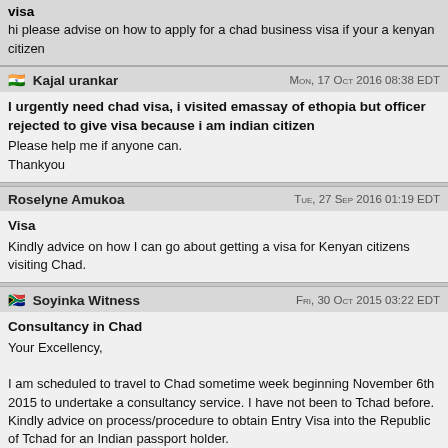visa
hi please advise on how to apply for a chad business visa if your a kenyan citizen
Kajal urankar — Mon, 17 Oct 2016 08:38 EDT
I urgently need chad visa, i visited emassay of ethopia but officer rejected to give visa because i am indian citizen
Please help me if anyone can.
Thankyou
Roselyne Amukoa — Tue, 27 Sep 2016 01:19 EDT
Visa
Kindly advice on how I can go about getting a visa for Kenyan citizens visiting Chad.
Soyinka Witness — Fri, 30 Oct 2015 03:22 EDT
Consultancy in Chad
Your Excellency,

I am scheduled to travel to Chad sometime week beginning November 6th 2015 to undertake a consultancy service. I have not been to Tchad before. Kindly advice on process/procedure to obtain Entry Visa into the Republic of Tchad for an Indian passport holder.